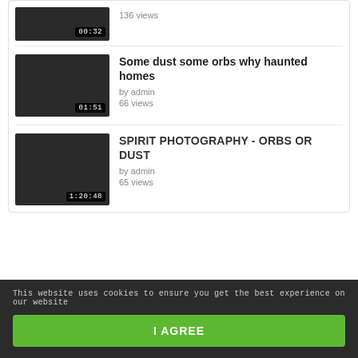[Figure (screenshot): Video thumbnail with dark background and timestamp 00:32 showing 136 views (partial, top of page)]
136 views
[Figure (screenshot): Video thumbnail dark background with timestamp 01:51]
Some dust some orbs why haunted homes
by admin
66 views
[Figure (screenshot): Video thumbnail dark background with timestamp 1:20:48]
SPIRIT PHOTOGRAPHY - ORBS OR DUST
by admin
65 views
This website uses cookies to ensure you get the best experience on our website
I AGREE